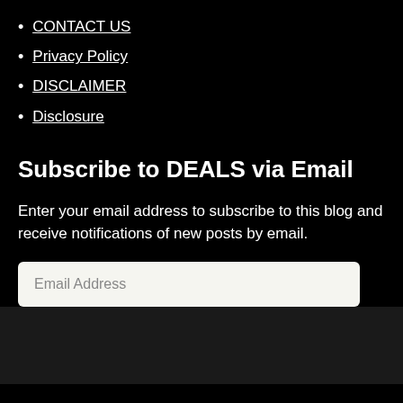CONTACT US
Privacy Policy
DISCLAIMER
Disclosure
Subscribe to DEALS via Email
Enter your email address to subscribe to this blog and receive notifications of new posts by email.
Email Address